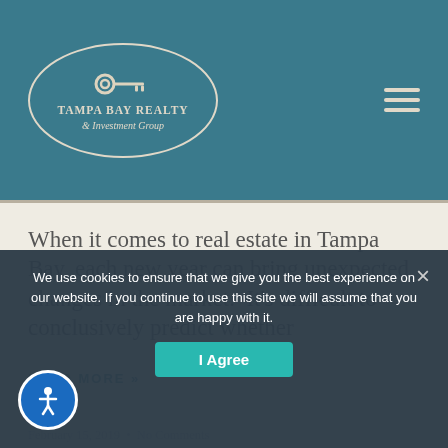[Figure (logo): Tampa Bay Realty & Investment Group logo inside an oval border with a key icon above the text]
When it comes to real estate in Tampa Bay, each new year can bring unexpected changes in the market.  It’s difficult to conclusively predict whether
READ MORE »
February 15, 2019  •  No Comments
We use cookies to ensure that we give you the best experience on our website. If you continue to use this site we will assume that you are happy with it.
I Agree